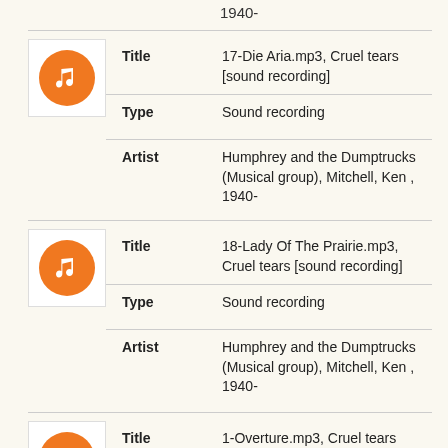1940-
| Field | Value |
| --- | --- |
| Title | 17-Die Aria.mp3, Cruel tears [sound recording] |
| Type | Sound recording |
| Artist | Humphrey and the Dumptrucks (Musical group), Mitchell, Ken , 1940- |
| Field | Value |
| --- | --- |
| Title | 18-Lady Of The Prairie.mp3, Cruel tears [sound recording] |
| Type | Sound recording |
| Artist | Humphrey and the Dumptrucks (Musical group), Mitchell, Ken , 1940- |
| Field | Value |
| --- | --- |
| Title | 1-Overture.mp3, Cruel tears [sound recording] |